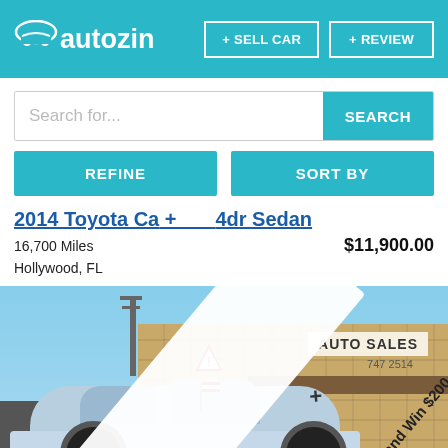autozin
+ SELL CAR
+ REVIEW
Search for...
SEARCH
REFINE
SORT BY
2014 Toyota Ca... 4dr Sedan
16,700 Miles
Hollywood, FL
$11,900.00
[Figure (photo): Photo of a silver Toyota Camry 4dr Sedan parked in front of an auto sales dealership building with stone facade. A diagonal promotional banner overlay reads 'Write Review and Win $200' rotated across the image.]